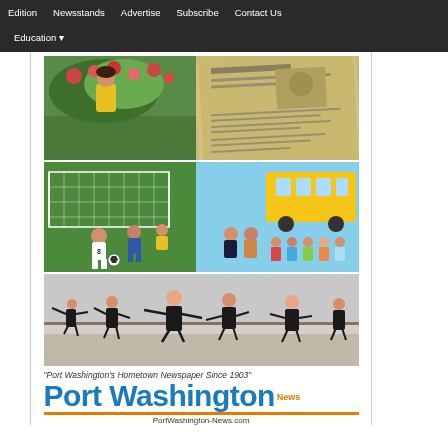Edition | Newsstands | Advertise | Subscribe | Contact Us | Education
[Figure (photo): Collage of four photos: child in flowers, old newspaper, soccer players, school children with bus, and dance class]
"Port Washington's Hometown Newspaper Since 1903"
[Figure (logo): Port Washington News logo with orange 'News' superscript and blue 'Port Washington' text, orange divider bar, and PortWashington-News.com URL]